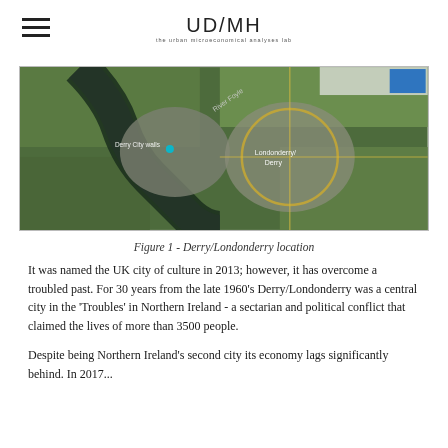UD/MH
[Figure (map): Aerial satellite map view of Derry/Londonderry city showing the River Foyle winding through the city, with city walls visible on the west bank and Londonderry/Derry labels on the map.]
Figure 1 - Derry/Londonderry location
It was named the UK city of culture in 2013; however, it has overcome a troubled past. For 30 years from the late 1960’s Derry/Londonderry was a central city in the ‘Troubles’ in Northern Ireland - a sectarian and political conflict that claimed the lives of more than 3500 people.
Despite being Northern Ireland’s second city its economy lags significantly behind. In 2017...